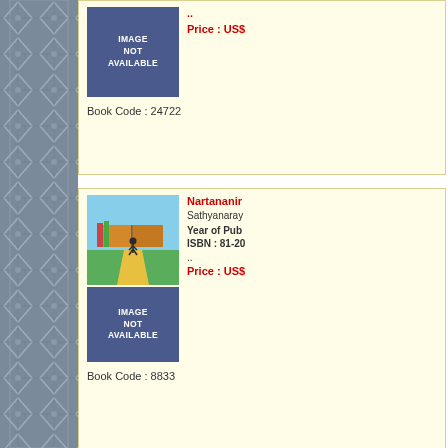[Figure (other): Left sidebar with decorative gray crosshatch/diamond pattern]
Book Code : 24722
.. Price : US$
Nartananir
Sathyanaray
Year of Pub
ISBN : 81-20
..
Price : US$
Book Code : 8833
Previous    1 2 3 4 5 6 7 8 9
26 27 28 29 30 31 32 33 34 3
52 53 54 55 56 57 58 59 60 6
78 79 80 81 82 83 84 85 86 8
103 104 105 106 107 108 10
121 122 123 124 125 126 12
139 140 141 142 143 144 14
157 158 159 160 161 162 16
175 176 177 178 179 180 18
193 194 195 196 197 198 1